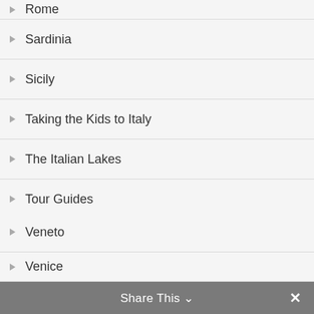Rome
Sardinia
Sicily
Taking the Kids to Italy
The Italian Lakes
Tour Guides
Turin + Piedmont
Tuscany
Umbria
Valle d’Aosta
Veneto
Venice
Share This ∨ ×